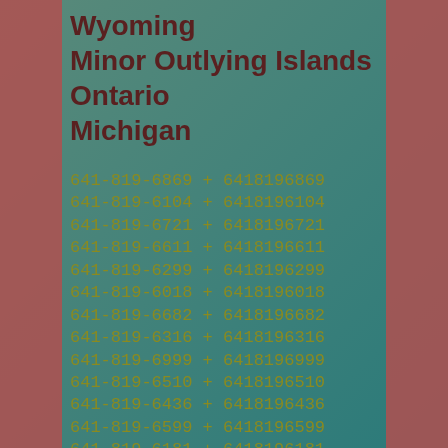Wyoming
Minor Outlying Islands
Ontario
Michigan
641-819-6869 + 6418196869
641-819-6104 + 6418196104
641-819-6721 + 6418196721
641-819-6611 + 6418196611
641-819-6299 + 6418196299
641-819-6018 + 6418196018
641-819-6682 + 6418196682
641-819-6316 + 6418196316
641-819-6999 + 6418196999
641-819-6510 + 6418196510
641-819-6436 + 6418196436
641-819-6599 + 6418196599
641-819-6181 + 6418196181
641-819-6219 + 6418196219
641-819-6286 + 6418196286
641-819-6628 + 6418196628